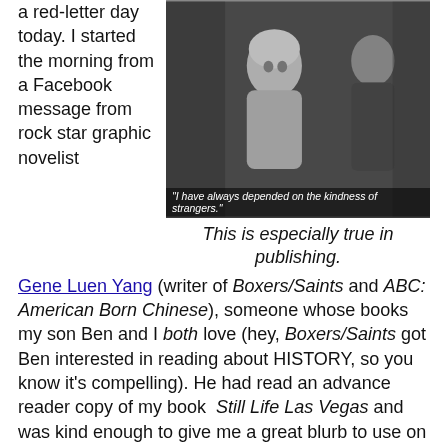a red-letter day today. I started the morning from a Facebook message from rock star graphic novelist
[Figure (photo): Black and white still from a classic film showing a young blonde woman in distress speaking with an older man. Caption overlay reads: "I have always depended on the kindness of strangers."]
This is especially true in publishing.
Gene Luen Yang (writer of Boxers/Saints and ABC: American Born Chinese), someone whose books my son Ben and I both love (hey, Boxers/Saints got Ben interested in reading about HISTORY, so you know it's compelling). He had read an advance reader copy of my book Still Life Las Vegas and was kind enough to give me a great blurb to use on the jacket. Time and time again, I've been amazed at the kindness of strangers, who will give up their precious time to help a new author out by reading their work and (hopefully) liking it enough to lend their name. Many thanks to Gene, and y'all should read his